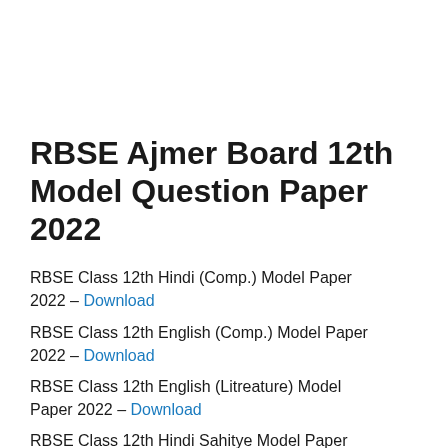RBSE Ajmer Board 12th Model Question Paper 2022
RBSE Class 12th Hindi (Comp.) Model Paper 2022 – Download
RBSE Class 12th English (Comp.) Model Paper 2022 – Download
RBSE Class 12th English (Litreature) Model Paper 2022 – Download
RBSE Class 12th Hindi Sahitya Model Paper...